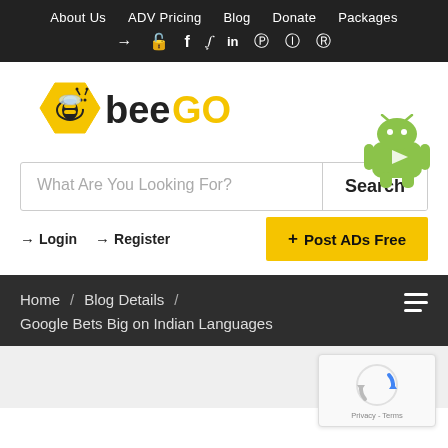About Us  ADV Pricing  Blog  Donate  Packages
[Figure (logo): BeeGo classified ads website logo with bee mascot in hexagon and text 'beeGO']
What Are You Looking For?
Search
Login  Register  + Post ADs Free
Home / Blog Details / Google Bets Big on Indian Languages